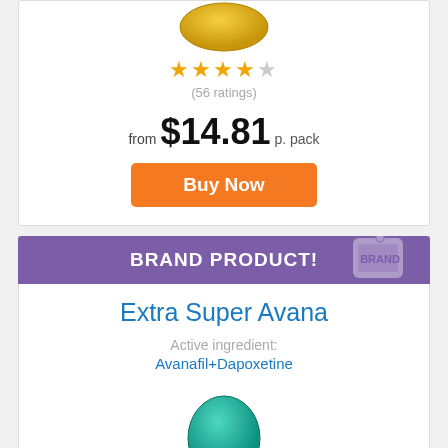[Figure (photo): Yellow/gold oval pill capsule partially visible at top of card]
★★★★☆ (56 ratings)
from $14.81 p. pack
Buy Now
BRAND PRODUCT!
Extra Super Avana
Active ingredient: Avanafil+Dapoxetine
[Figure (photo): Teal/green oval pill capsule partially visible at bottom of card]